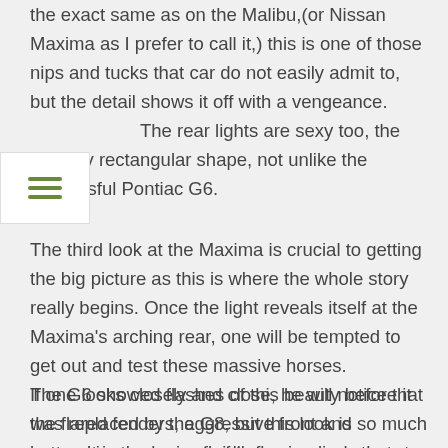the exact same as on the Malibu,(or Nissan Maxima as I prefer to call it,) this is one of those nips and tucks that car do not easily admit to, but the detail shows it off with a vengeance. The rear lights are sexy too, the shapely rectangular shape, not unlike the successful Pontiac G6.
The third look at the Maxima is crucial to getting the big picture as this is where the whole story really begins. Once the light reveals itself at the Maxima’s arching rear, one will be tempted to get out and test these massive horses. If one looks closely and close, he will notice that the flared fenders, aggressive front and aggressive rear wings of the car reveal a sporty look that is at once subtle and very much accessible.
The G6 showed flashes of this beauty before it was replaced by the G8, but this look is so much better. It is the large, fluidly flowing lines that elevate the exterior of the Maxima above the